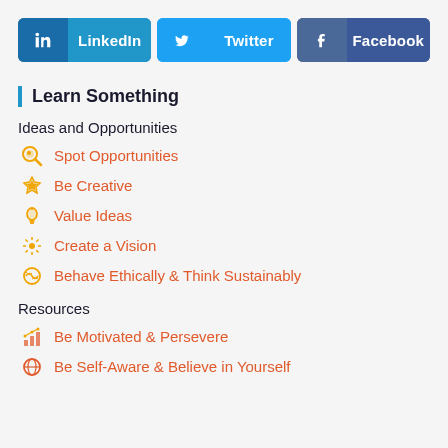[Figure (infographic): Three social media share buttons: LinkedIn (blue), Twitter (light blue), Facebook (dark blue)]
Learn Something
Ideas and Opportunities
Spot Opportunities
Be Creative
Value Ideas
Create a Vision
Behave Ethically & Think Sustainably
Resources
Be Motivated & Persevere
Be Self-Aware & Believe in Yourself